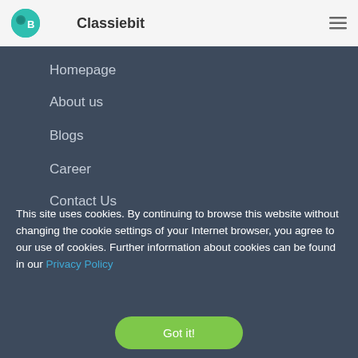Classiebit
Homepage
About us
Blogs
Career
Contact Us
This site uses cookies. By continuing to browse this website without changing the cookie settings of your Internet browser, you agree to our use of cookies. Further information about cookies can be found in our Privacy Policy
Got it!